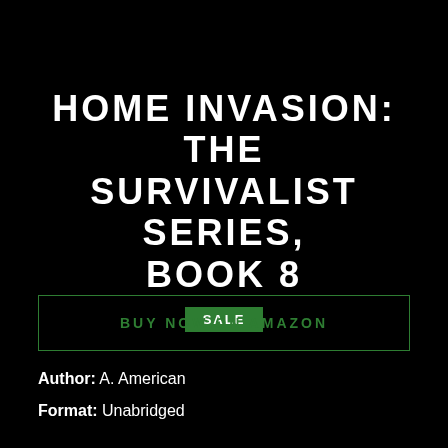HOME INVASION: THE SURVIVALIST SERIES, BOOK 8
SALE
BUY NOW ON AMAZON
Author: A. American
Format: Unabridged